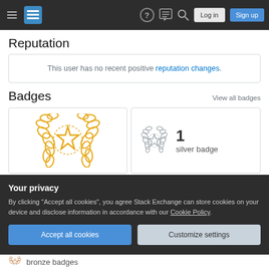Stack Exchange navigation bar with hamburger menu, logo, help, chat, search, Log in, Sign up
Reputation
This user has no recent positive reputation changes.
Badges
View all badges
[Figure (illustration): Gold badge icon - laurel wreath with star in center, gold/yellow color]
[Figure (illustration): Silver badge icon - laurel wreath with star in center, silver/grey color]
1 silver badge
Your privacy
By clicking "Accept all cookies", you agree Stack Exchange can store cookies on your device and disclose information in accordance with our Cookie Policy.
Accept all cookies
Customize settings
bronze badges